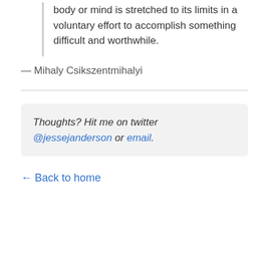body or mind is stretched to its limits in a voluntary effort to accomplish something difficult and worthwhile.
— Mihaly Csikszentmihalyi
Thoughts? Hit me on twitter @jessejanderson or email.
← Back to home